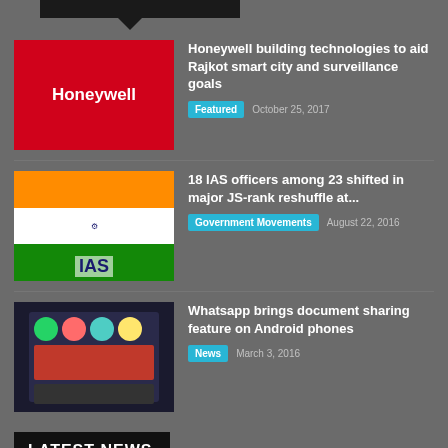[Figure (photo): Partial black banner at top of page, cut off]
[Figure (logo): Honeywell logo on red background]
Honeywell building technologies to aid Rajkot smart city and surveillance goals
Featured   October 25, 2017
[Figure (photo): Indian flag with IAS emblem]
18 IAS officers among 23 shifted in major JS-rank reshuffle at...
Government Movements   August 22, 2016
[Figure (screenshot): WhatsApp app interface showing document sharing on Android]
Whatsapp brings document sharing feature on Android phones
News   March 3, 2016
LATEST NEWS
[Figure (photo): EV charging station with car and person]
Delhi govt unveils roadmap to install 18,000 EV charging points by...
e-Governance News   August 23, 2022